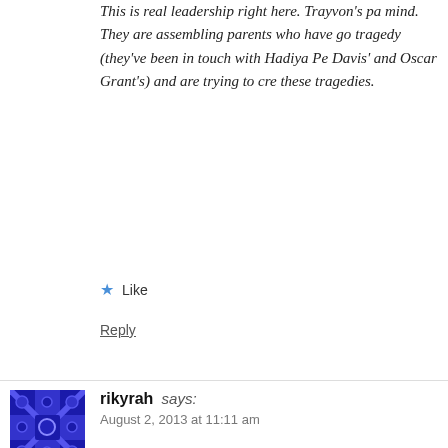This is real leadership right here. Trayvon's parents are speaking their mind. They are assembling parents who have gone through similar tragedy (they've been in touch with Hadiya Pendleton's, Jordan Davis' and Oscar Grant's) and are trying to create change from these tragedies.
Like
Reply
rikyrah says:
August 2, 2013 at 11:11 am
@keithboykin
We've created more private sector jobs in the past 41 months than the entire 8 years under Bush.
Loading...
Reply